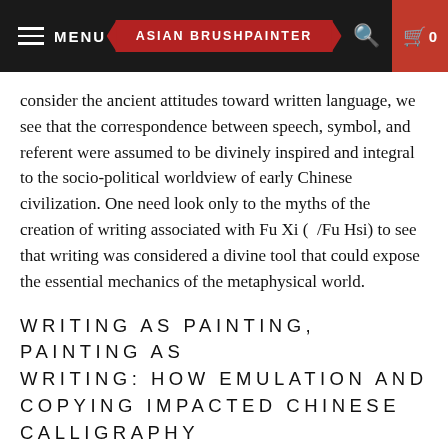MENU | ASIAN BRUSHPAINTER | 0
consider the ancient attitudes toward written language, we see that the correspondence between speech, symbol, and referent were assumed to be divinely inspired and integral to the socio-political worldview of early Chinese civilization. One need look only to the myths of the creation of writing associated with Fu Xi (  /Fu Hsi) to see that writing was considered a divine tool that could expose the essential mechanics of the metaphysical world.
WRITING AS PAINTING, PAINTING AS WRITING: HOW EMULATION AND COPYING IMPACTED CHINESE CALLIGRAPHY
While the ancient origins of writing and painting as descriptive languages set the stage for a worldview in which words and images were essentially inseperable, later developments would create many interesting correspondences between the two traditions. Since at least the Period of Disunion, masters of the arts have been celebrated and copied by students as a way of